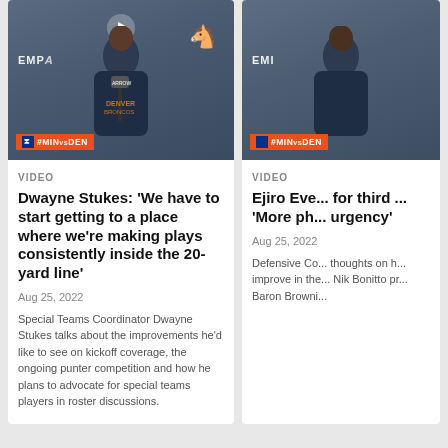[Figure (screenshot): Video thumbnail showing Denver Broncos player at press conference podium with #MINvsDEN orange badge overlay. Arrow Electronics microphone visible.]
VIDEO
Dwayne Stukes: 'We have to start getting to a place where we're making plays consistently inside the 20-yard line'
Aug 25, 2022
Special Teams Coordinator Dwayne Stukes talks about the improvements he'd like to see on kickoff coverage, the ongoing punter competition and how he plans to advocate for special teams players in roster discussions.
[Figure (screenshot): Partial video thumbnail showing Denver Broncos player with #MINvsDEN orange badge overlay, cropped on right side.]
VIDEO
Ejiro Eve... for third ... 'More ph... urgency'
Aug 25, 2022
Defensive Co... thoughts on h... improve in the... Nik Bonitto pr... Baron Browni...